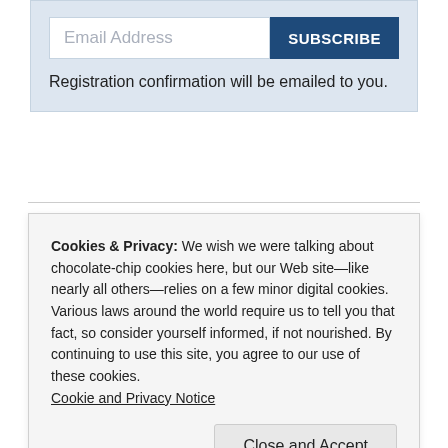Email Address
SUBSCRIBE
Registration confirmation will be emailed to you.
Cookies & Privacy: We wish we were talking about chocolate-chip cookies here, but our Web site—like nearly all others—relies on a few minor digital cookies. Various laws around the world require us to tell you that fact, so consider yourself informed, if not nourished. By continuing to use this site, you agree to our use of these cookies. Cookie and Privacy Notice
Close and Accept